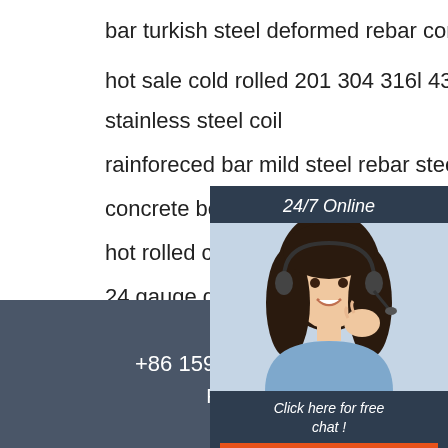bar turkish steel deformed rebar construction
hot sale cold rolled 201 304 316l 430 stainless steel coil
rainforeced bar mild steel rebar stee...
concrete bending cutting astm 10 jis...
hot rolled cold rolled standard sizes...
24 gauge galvanized steel coil
hot rolled jis standard bon structural steel i ipn beam
[Figure (photo): Chat widget with woman wearing headset, 24/7 Online header, Click here for free chat text, and QUOTATION button]
Tel +86 15937107570 Phone
[Figure (logo): TOP logo with orange triangle/arch shape]